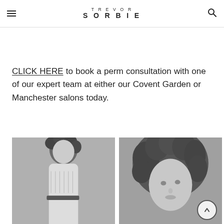TREVOR SORBIE
CLICK HERE to book a perm consultation with one of our expert team at either our Covent Garden or Manchester salons today.
[Figure (photo): Black and white photo of a woman with short curly hair wearing a white knit top and belt]
[Figure (photo): Black and white close-up photo of a woman with voluminous curly hair, close-up portrait]